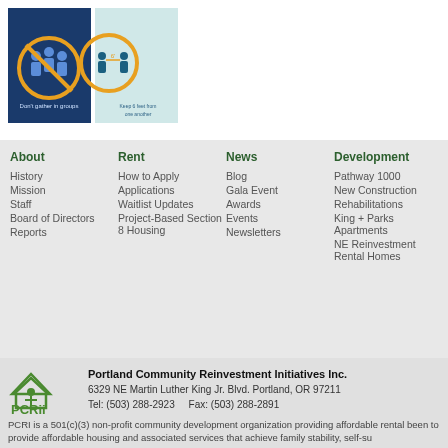[Figure (infographic): Two COVID-19 safety icons: left shows a crossed-out group of people (Don't gather in groups) on blue background, right shows two people with 6ft distance marker on light blue background (Keep 6 feet from one another)]
About
History
Mission
Staff
Board of Directors
Reports
Rent
How to Apply
Applications
Waitlist Updates
Project-Based Section 8 Housing
News
Blog
Gala Event
Awards
Events
Newsletters
Development
Pathway 1000
New Construction
Rehabilitations
King + Parks Apartments
NE Reinvestment Rental Homes
[Figure (logo): PCRI logo with green house icon and PCRI text]
Portland Community Reinvestment Initiatives Inc.
6329 NE Martin Luther King Jr. Blvd. Portland, OR 97211
Tel: (503) 288-2923    Fax: (503) 288-2891
PCRI is a 501(c)(3) non-profit community development organization providing affordable rental been to provide affordable housing and associated services that achieve family stability, self-su